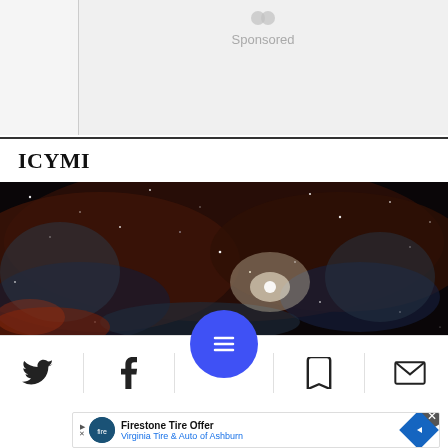[Figure (other): Sponsored ad placeholder area with 'Sponsored' text and icon, gray background]
ICYMI
[Figure (photo): Astronomy/space image showing a nebula with stars, dust clouds in dark reds and blues]
[Figure (screenshot): Mobile navigation bar with Twitter, Facebook, menu (blue circle), bookmark, and email icons, plus bottom ad for Firestone Tire Offer / Virginia Tire & Auto of Ashburn]